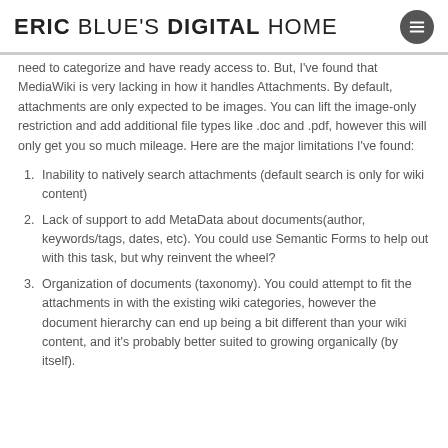ERIC BLUE'S DIGITAL HOME
need to categorize and have ready access to. But, I've found that MediaWiki is very lacking in how it handles Attachments. By default, attachments are only expected to be images. You can lift the image-only restriction and add additional file types like .doc and .pdf, however this will only get you so much mileage. Here are the major limitations I've found:
Inability to natively search attachments (default search is only for wiki content)
Lack of support to add MetaData about documents(author, keywords/tags, dates, etc). You could use Semantic Forms to help out with this task, but why reinvent the wheel?
Organization of documents (taxonomy). You could attempt to fit the attachments in with the existing wiki categories, however the document hierarchy can end up being a bit different than your wiki content, and it's probably better suited to growing organically (by itself).